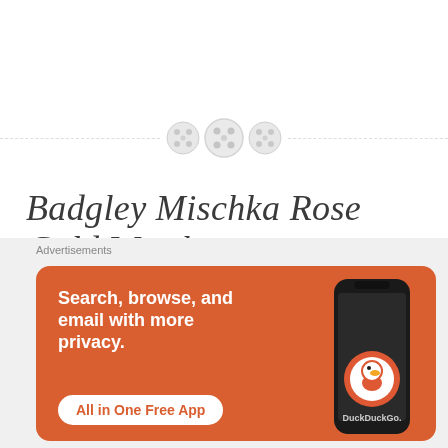[Figure (illustration): Decorative divider with three button icons and dashed lines on either side]
Badgley Mischka Rose Gold Watch
February 19, 2013 · StyleMeThrifted · 11 Comments
(faint article preview text)
[Figure (screenshot): DuckDuckGo advertisement banner: 'Search, browse, and email with more privacy. All in One Free App' with phone graphic and DuckDuckGo logo]